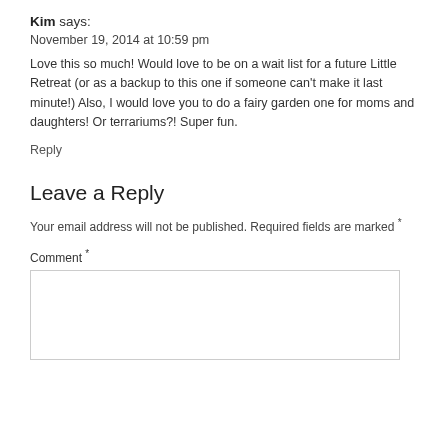Kim says:
November 19, 2014 at 10:59 pm
Love this so much! Would love to be on a wait list for a future Little Retreat (or as a backup to this one if someone can't make it last minute!) Also, I would love you to do a fairy garden one for moms and daughters! Or terrariums?! Super fun.
Reply
Leave a Reply
Your email address will not be published. Required fields are marked *
Comment *